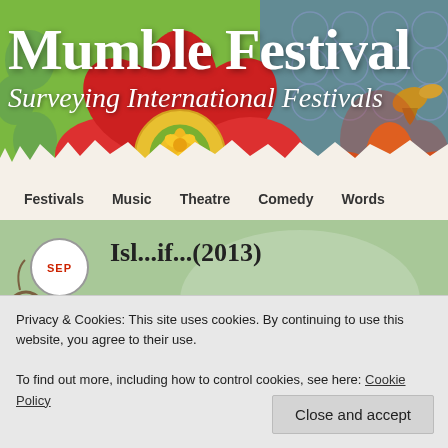[Figure (screenshot): Mumble Festival website header with colorful floral/folk art background illustration featuring red flowers, yellow and green motifs on decorative patterned background]
Mumble Festival
Surveying International Festivals
Festivals  Music  Theatre  Comedy  Words
SEP
Privacy & Cookies: This site uses cookies. By continuing to use this website, you agree to their use.
To find out more, including how to control cookies, see here: Cookie Policy
Close and accept